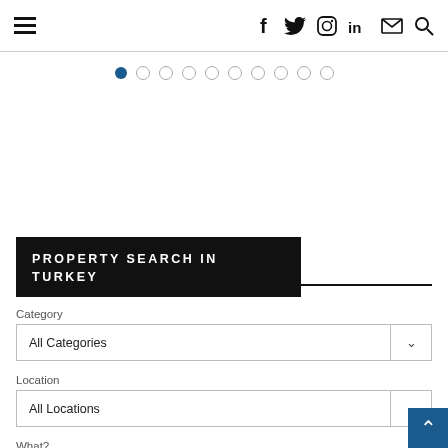Navigation bar with hamburger menu and social icons (f, twitter, instagram, linkedin, mail, search)
[Figure (other): Slideshow pagination dots: 10 circles, first one filled blue, rest empty]
PROPERTY SEARCH IN TURKEY
Category
All Categories
Location
All Locations
What?